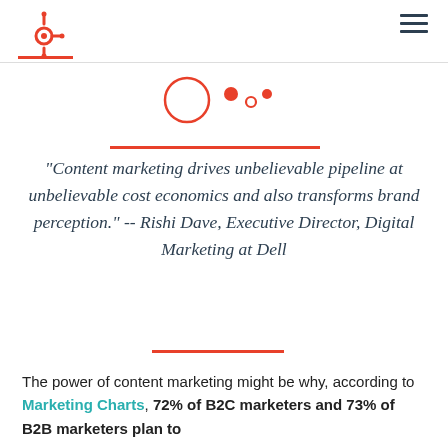HubSpot logo and navigation
[Figure (illustration): HubSpot sprocket logo (orange) top left, hamburger menu icon (dark navy) top right, red horizontal accent line bottom left of header]
[Figure (illustration): Three decorative circles: large open circle (orange outline), small filled orange circle, small open circle (orange outline), small filled orange circle — arranged horizontally as a decorative divider]
“Content marketing drives unbelievable pipeline at unbelievable cost economics and also transforms brand perception.” -- Rishi Dave, Executive Director, Digital Marketing at Dell
The power of content marketing might be why, according to Marketing Charts, 72% of B2C marketers and 73% of B2B marketers plan to